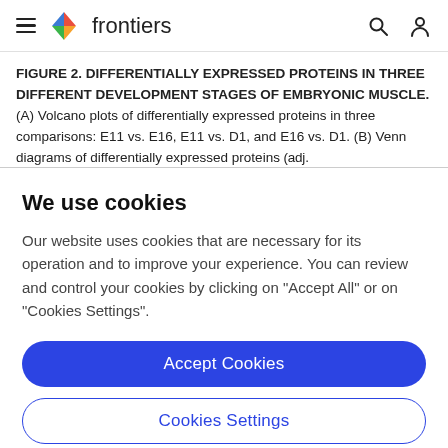frontiers
FIGURE 2. DIFFERENTIALLY EXPRESSED PROTEINS IN THREE DIFFERENT DEVELOPMENT STAGES OF EMBRYONIC MUSCLE. (A) Volcano plots of differentially expressed proteins in three comparisons: E11 vs. E16, E11 vs. D1, and E16 vs. D1. (B) Venn diagrams of differentially expressed proteins (adj. p < 0.05, fold change > 1.5
We use cookies
Our website uses cookies that are necessary for its operation and to improve your experience. You can review and control your cookies by clicking on "Accept All" or on "Cookies Settings".
Accept Cookies
Cookies Settings